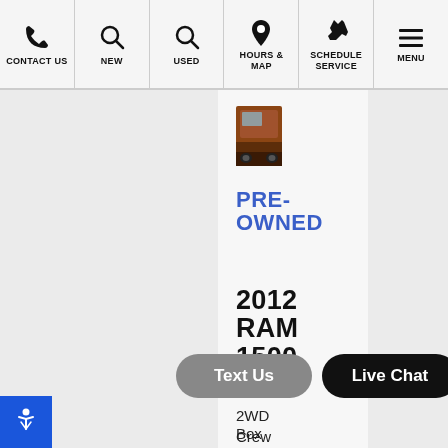CONTACT US | NEW | USED | HOURS & MAP | SCHEDULE SERVICE | MENU
[Figure (photo): Small thumbnail photo of a 2012 Ram 1500 truck, brownish-red color]
PRE-OWNED
2012 RAM 1500
2WD Crew Cab Box